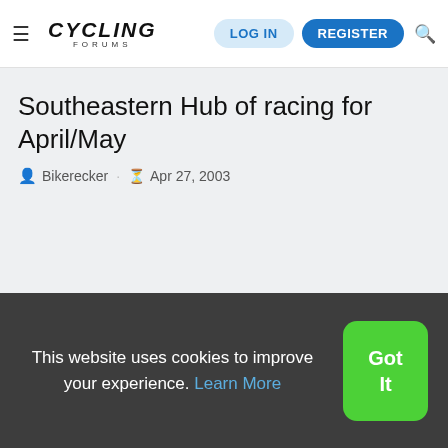≡ CYCLING FORUMS | LOG IN | REGISTER | 🔍
Southeastern Hub of racing for April/May
Bikerecker · Apr 27, 2003
This website uses cookies to improve your experience. Learn More